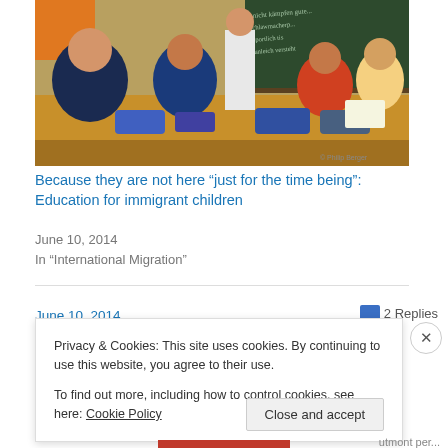[Figure (photo): Classroom photo showing children sitting at a desk with a teacher standing behind them, blackboard with German writing in the background. Watermark reads © Philip Berger.]
Because they are not here “just for the time being”: Education for immigrant children
June 10, 2014
In "International Migration"
June 10, 2014
2 Replies
Privacy & Cookies: This site uses cookies. By continuing to use this website, you agree to their use.
To find out more, including how to control cookies, see here: Cookie Policy
Close and accept